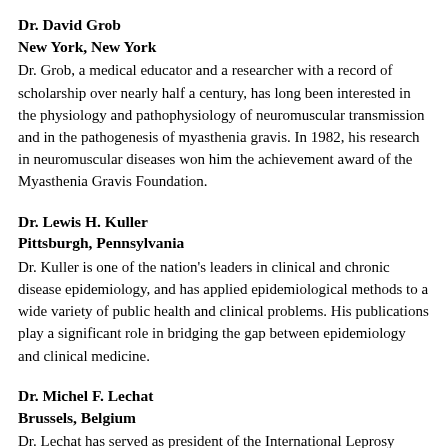Dr. David Grob
New York, New York
Dr. Grob, a medical educator and a researcher with a record of scholarship over nearly half a century, has long been interested in the physiology and pathophysiology of neuromuscular transmission and in the pathogenesis of myasthenia gravis. In 1982, his research in neuromuscular diseases won him the achievement award of the Myasthenia Gravis Foundation.
Dr. Lewis H. Kuller
Pittsburgh, Pennsylvania
Dr. Kuller is one of the nation's leaders in clinical and chronic disease epidemiology, and has applied epidemiological methods to a wide variety of public health and clinical problems. His publications play a significant role in bridging the gap between epidemiology and clinical medicine.
Dr. Michel F. Lechat
Brussels, Belgium
Dr. Lechat has served as president of the International Leprosy Association and the International Leprosy Union, and was also one of the first to suggest that epidemiologic principles could be applied to improving disaster preparedness and response. He has served as a World Health Organization consultant or adviser in two dozen nations.